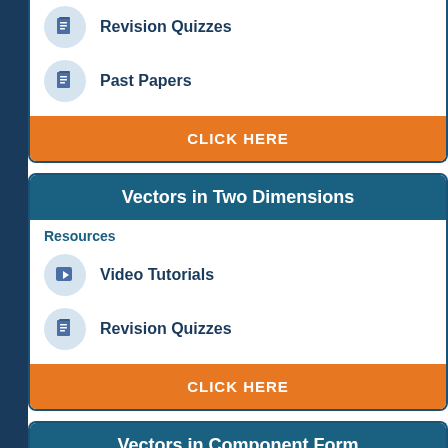Revision Quizzes
Past Papers
CLICK HERE
Vectors in Two Dimensions
Resources
Video Tutorials
Revision Quizzes
CLICK HERE
Vectors in Component Form
Resources
Video Tutorials